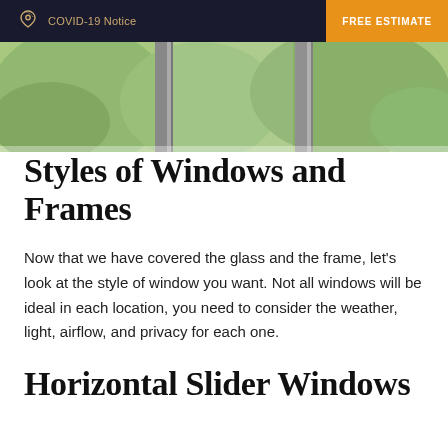COVID-19 Notice | FREE ESTIMATE
[Figure (photo): Partial view of a window with green foliage visible outside, showing window frame and glass panes]
Styles of Windows and Frames
Now that we have covered the glass and the frame, let’s look at the style of window you want. Not all windows will be ideal in each location, you need to consider the weather, light, airflow, and privacy for each one.
Horizontal Slider Windows